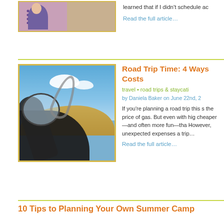[Figure (photo): Partial view of a person wearing floral/dark clothing, two-panel image with pinkish and tan sections]
learned that if I didn't schedule ac
Read the full article...
[Figure (photo): View through a car side mirror showing blue sky with clouds and golden hills in background, with dark car interior in foreground]
Road Trip Time: 4 Ways Costs
travel • road trips & staycati
by Daniela Baker on June 22nd, 2
If you're planning a road trip this s the price of gas. But even with hig cheaper—and often more fun—tha However, unexpected expenses a trip…
Read the full article...
10 Tips to Planning Your Own Summer Camp